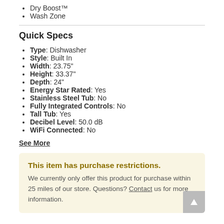Dry Boost™
Wash Zone
Quick Specs
Type: Dishwasher
Style: Built In
Width: 23.75"
Height: 33.37"
Depth: 24"
Energy Star Rated: Yes
Stainless Steel Tub: No
Fully Integrated Controls: No
Tall Tub: Yes
Decibel Level: 50.0 dB
WiFi Connected: No
See More
This item has purchase restrictions. We currently only offer this product for purchase within 25 miles of our store. Questions? Contact us for more information.